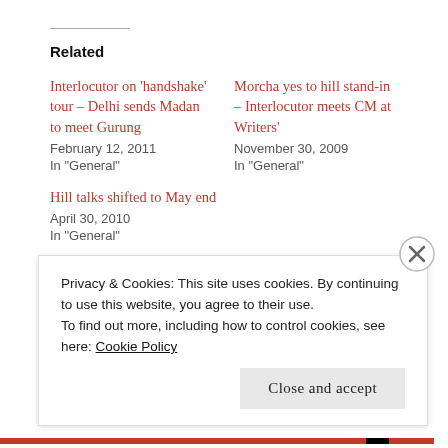Related
Interlocutor on ‘handshake’ tour – Delhi sends Madan to meet Gurung
February 12, 2011
In "General"
Morcha yes to hill stand-in – Interlocutor meets CM at Writers’
November 30, 2009
In "General"
Hill talks shifted to May end
April 30, 2010
In "General"
Privacy & Cookies: This site uses cookies. By continuing to use this website, you agree to their use.
To find out more, including how to control cookies, see here: Cookie Policy
Close and accept